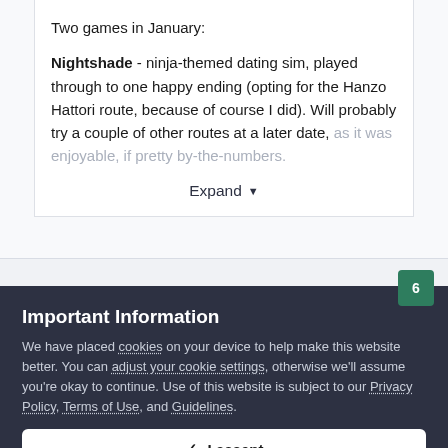Two games in January:

Nightshade - ninja-themed dating sim, played through to one happy ending (opting for the Hanzo Hattori route, because of course I did). Will probably try a couple of other routes at a later date, as it was enjoyable, if pretty by-the-numbers.
Expand
Important Information
We have placed cookies on your device to help make this website better. You can adjust your cookie settings, otherwise we'll assume you're okay to continue. Use of this website is subject to our Privacy Policy, Terms of Use, and Guidelines.
✓  I accept